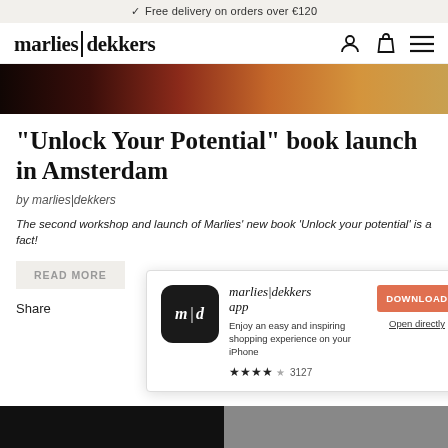Free delivery on orders over €120
[Figure (logo): marlies|dekkers logo with vertical bar divider, navigation icons for account, bag, and menu]
[Figure (photo): Hero image strip showing dark reddish background with warm tones]
“Unlock Your Potential” book launch in Amsterdam
by marlies|dekkers
The second workshop and launch of Marlies’ new book ‘Unlock your potential’ is a fact!
READ MORE
Share
[Figure (screenshot): App download popup for marlies|dekkers app. App icon shows m|d on black background. Text: marlies|dekkers app. Enjoy an easy and inspiring shopping experience on your iPhone. Rating: 4 stars, 3127 reviews. DOWNLOAD button in orange. Open directly link. Close button (X) in grey circle.]